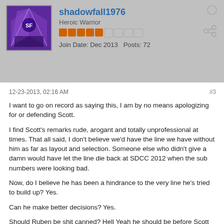shadowfall1976
Heroic Warrior
Join Date: Dec 2013  Posts: 72
12-23-2013, 02:16 AM
#3
I want to go on record as saying this, I am by no means apologizing for or defending Scott.

I find Scott's remarks rude, arogant and totally unprofessional at times. That all said, I don't believe we'd have the line we have without him as far as layout and selection. Someone else who didn't give a damn would have let the line die back at SDCC 2012 when the sub numbers were looking bad.

Now, do I believe he has been a hindrance to the very line he's tried to build up? Yes.

Can he make better decisions? Yes.

Should Ruben be shit canned? Hell Yeah he should be before Scott is.

Scott has been a blessing and a curse to the line, but I don't for one minute believe that someone else would have brought this line into 2014, I think the VIntage would have been the focus and we'd only have those on our shelves, not Filmation, not POP, not the other cool characters.... Now that said, without Scott, we'd certainly not have